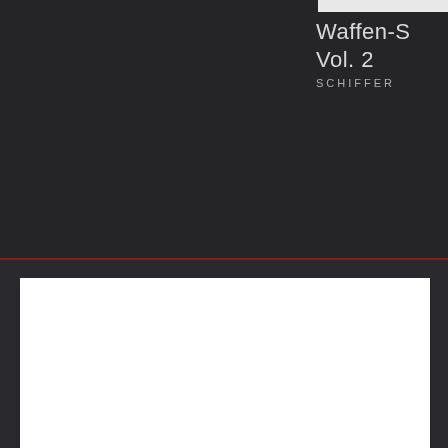Waffen-S Vol. 2
SCHIFFER
[Figure (illustration): White rectangle on dark background, lower portion of book cover]